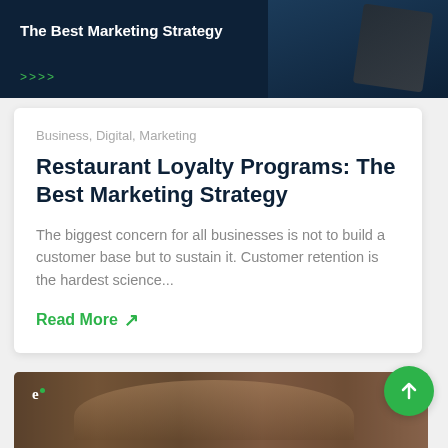[Figure (photo): Dark navy banner with white bold text 'The Best Marketing Strategy' and green chevron arrows at bottom left, partially visible clipboard/tablet image at top right]
Business, Digital, Marketing
Restaurant Loyalty Programs: The Best Marketing Strategy
The biggest concern for all businesses is not to build a customer base but to sustain it. Customer retention is the hardest science...
Read More ↗
[Figure (photo): Group of restaurant staff including chefs in white uniforms and waitstaff in black aprons gathered together, with a logo 'e.' overlay at top left]